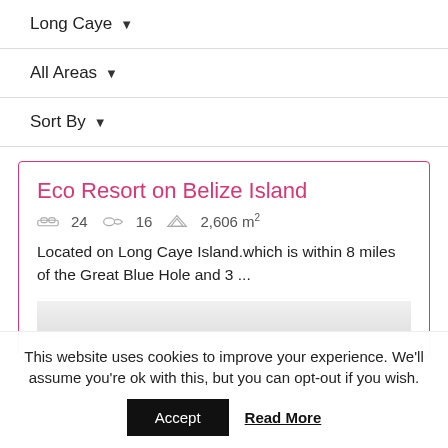Long Caye ▼
All Areas ▼
Sort By ▼
Eco Resort on Belize Island
24  16  2,606 m²
Located on Long Caye Island.which is within 8 miles of the Great Blue Hole and 3 ...
This website uses cookies to improve your experience. We'll assume you're ok with this, but you can opt-out if you wish.
Accept   Read More